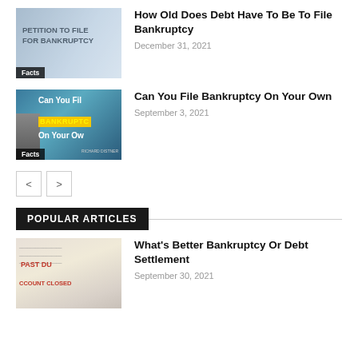[Figure (photo): Petition to File For Bankruptcy document with glasses and calculator]
How Old Does Debt Have To Be To File Bankruptcy
December 31, 2021
[Figure (photo): Can You File Bankruptcy On Your Own thumbnail with man in suit]
Can You File Bankruptcy On Your Own
September 3, 2021
POPULAR ARTICLES
[Figure (photo): Past Due account closed document showing debt settlement]
What's Better Bankruptcy Or Debt Settlement
September 30, 2021